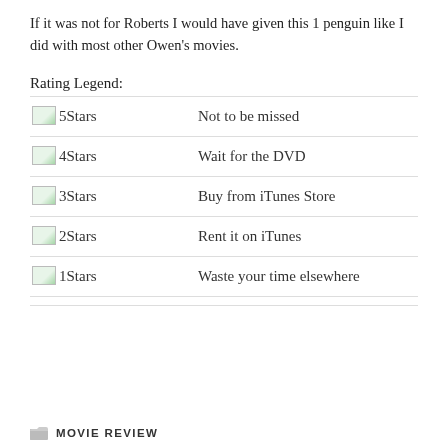If it was not for Roberts I would have given this 1 penguin like I did with most other Owen's movies.
Rating Legend:
| Rating | Description |
| --- | --- |
| [5Stars] | Not to be missed |
| [4Stars] | Wait for the DVD |
| [3Stars] | Buy from iTunes Store |
| [2Stars] | Rent it on iTunes |
| [1Stars] | Waste your time elsewhere |
MOVIE REVIEW